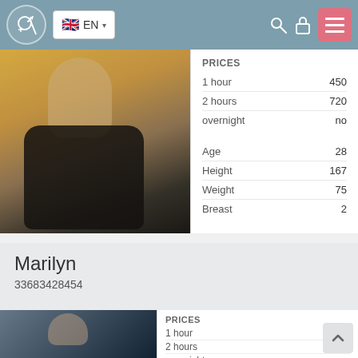EN (navigation bar with logo, language selector, search, lock, menu icons)
[Figure (photo): Photo of a woman with blonde hair wearing black lingerie, seated against an orange/golden background]
|  |  |
| --- | --- |
| PRICES |  |
| 1 hour | 450 |
| 2 hours | 720 |
| overnight | no |
|  |  |
| Age | 28 |
| Height | 167 |
| Weight | 75 |
| Breast | 2 |
Marilyn
33683428454
[Figure (photo): Photo of a young man with dark hair, shirtless, against a dark background]
|  |  |
| --- | --- |
| PRICES |  |
| 1 hour | 350 |
| 2 hours | 700 |
| overnight | no |